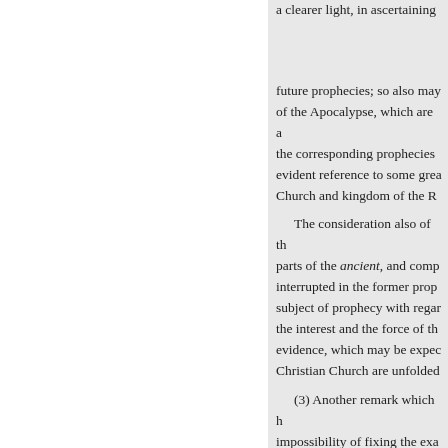a clearer light, in ascertaining future prophecies; so also may of the Apocalypse, which are the corresponding prophecies evident reference to some grea Church and kingdom of the R
The consideration also of th parts of the ancient, and comp interrupted in the former prop subject of prophecy with regar the interest and the force of th evidence, which may be expec Christian Church are unfolded
(3) Another remark which h impossibility of fixing the exa was illustrated by a reference t occur in still greater number i involved in a similar obscurity termination,—especially those
« Previous